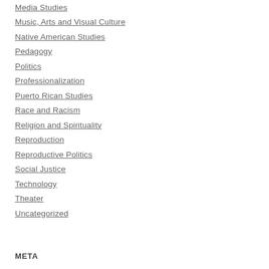Media Studies
Music, Arts and Visual Culture
Native American Studies
Pedagogy
Politics
Professionalization
Puerto Rican Studies
Race and Racism
Religion and Spirituality
Reproduction
Reproductive Politics
Social Justice
Technology
Theater
Uncategorized
META